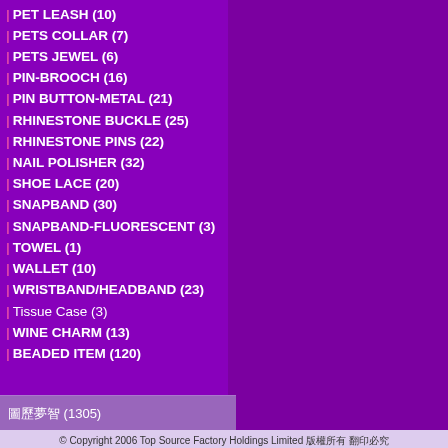PET LEASH (10)
PETS COLLAR (7)
PETS JEWEL (6)
PIN-BROOCH (16)
PIN BUTTON-METAL (21)
RHINESTONE BUCKLE (25)
RHINESTONE PINS (22)
NAIL POLISHER (32)
SHOE LACE (20)
SNAPBAND (30)
SNAPBAND-FLUORESCENT (3)
TOWEL (1)
WALLET (10)
WRISTBAND/HEADBAND (23)
Tissue Case (3)
WINE CHARM (13)
BEADED ITEM (120)
圖歷夢智 (1305)
© Copyright 2006 Top Source Factory Holdings Limited 版權所有 翻印必究